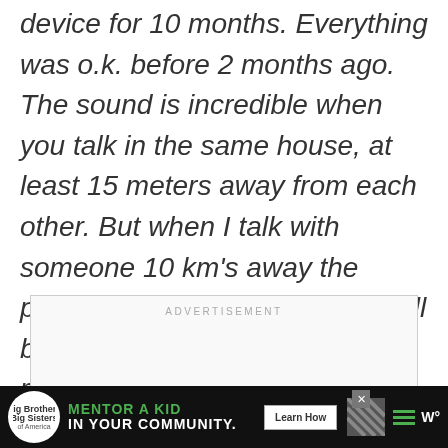device for 10 months. Everything was o.k. before 2 months ago. The sound is incredible when you talk in the same house, at least 15 meters away from each other. But when I talk with someone 10 km's away the problem repeats…your helps will be appreciated in this matter..Thank you very much…
[Figure (other): Advertisement placeholder box with 'ADVERTISEMENT' label text]
[Figure (other): Big Brothers Big Sisters advertisement banner at bottom: 'MENTOR A KID IN YOUR COMMUNITY.' with Learn How button, diagonal pattern, hamburger menu, and W logo]